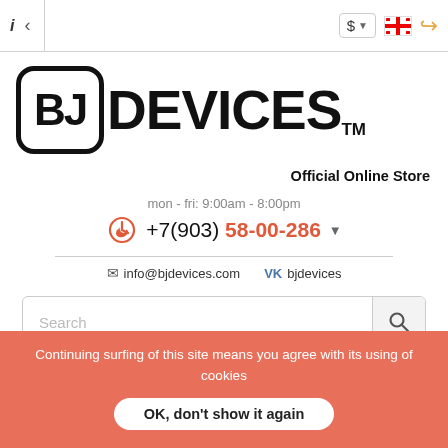Browser navigation bar with info icon, back arrow, dollar currency selector, flag icon, and back navigation
[Figure (logo): BJ DEVICES trademark logo — BJ in a rounded square box followed by DEVICES text with TM superscript]
Official Online Store
mon - fri: 9:00am - 8:00pm
+7(903) 58-00-286
info@bjdevices.com   vk bjdevices
Search
Best sellers
News
Reviews
Artists
Continuing surfing of this site means you agree with its using of cookies
OK, don't show it again